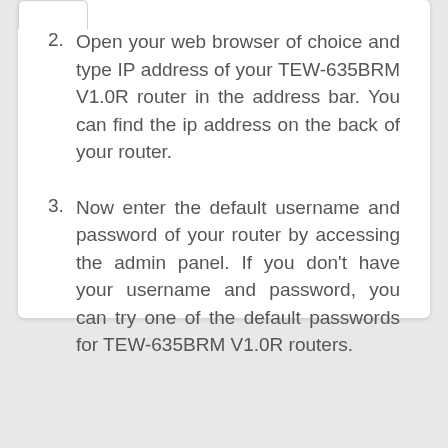2. Open your web browser of choice and type IP address of your TEW-635BRM V1.0R router in the address bar. You can find the ip address on the back of your router.
3. Now enter the default username and password of your router by accessing the admin panel. If you don't have your username and password, you can try one of the default passwords for TEW-635BRM V1.0R routers.